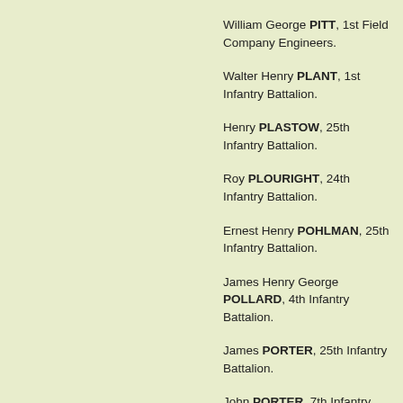William George PITT, 1st Field Company Engineers.
Walter Henry PLANT, 1st Infantry Battalion.
Henry PLASTOW, 25th Infantry Battalion.
Roy PLOURIGHT, 24th Infantry Battalion.
Ernest Henry POHLMAN, 25th Infantry Battalion.
James Henry George POLLARD, 4th Infantry Battalion.
James PORTER, 25th Infantry Battalion.
John PORTER, 7th Infantry Battalion.
Eric Vivian POWER, 25th Infantry Battalion.
Noel Plunkett POWER, 4th Infantry Battalion.